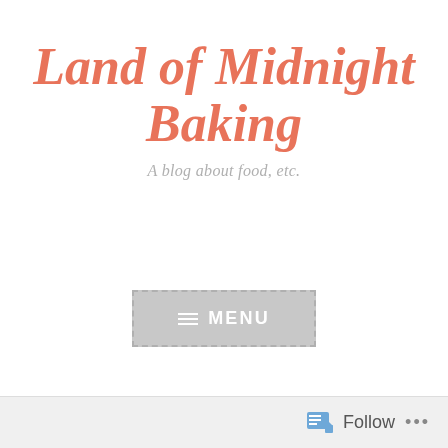Land of Midnight Baking
A blog about food, etc.
[Figure (other): Navigation menu button with dashed border, gray background, hamburger icon and MENU text]
Category: Quick and easy
Follow ...